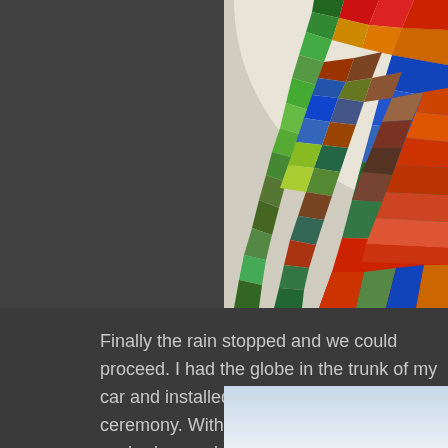[Figure (photo): Close-up photograph of a colorful stained glass window showing red, green, blue, orange, and brown glass pieces arranged in a circular pattern against a light background.]
Finally the rain stopped and we could proceed. I had the globe in the trunk of my car and installed it right before the ceremony. With the yard being very sandy, we had no puddles.  W
[Figure (photo): Partial view of another photograph showing a light blue/grey gradient background, likely an outdoor sky or similar scene.]